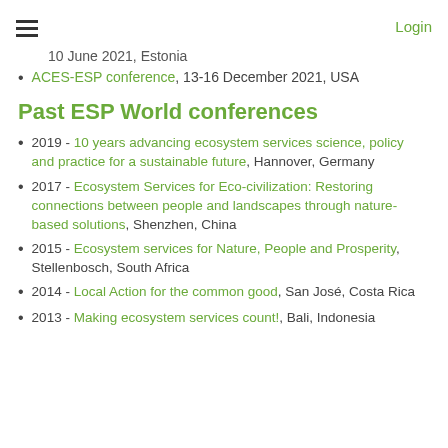≡   Login
10 June 2021, Estonia
ACES-ESP conference, 13-16 December 2021, USA
Past ESP World conferences
2019 - 10 years advancing ecosystem services science, policy and practice for a sustainable future, Hannover, Germany
2017 - Ecosystem Services for Eco-civilization: Restoring connections between people and landscapes through nature-based solutions, Shenzhen, China
2015 - Ecosystem services for Nature, People and Prosperity, Stellenbosch, South Africa
2014 - Local Action for the common good, San José, Costa Rica
2013 - Making ecosystem services count!, Bali, Indonesia